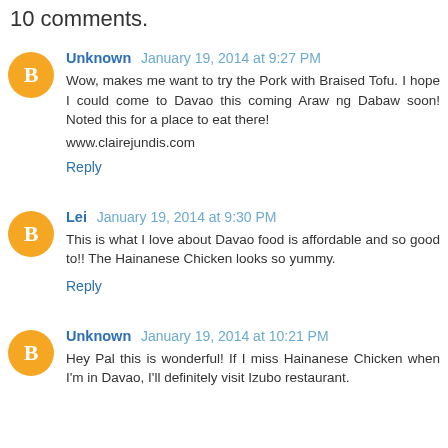10 comments.
Unknown January 19, 2014 at 9:27 PM
Wow, makes me want to try the Pork with Braised Tofu. I hope I could come to Davao this coming Araw ng Dabaw soon! Noted this for a place to eat there!

www.clairejundis.com
Reply
Lei January 19, 2014 at 9:30 PM
This is what I love about Davao food is affordable and so good to!! The Hainanese Chicken looks so yummy.
Reply
Unknown January 19, 2014 at 10:21 PM
Hey Pal this is wonderful! If I miss Hainanese Chicken when I'm in Davao, I'll definitely visit Izubo restaurant.